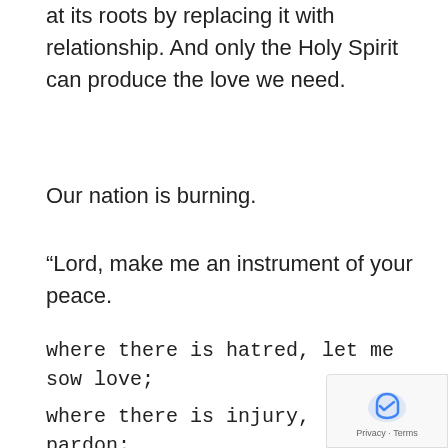at its roots by replacing it with relationship. And only the Holy Spirit can produce the love we need.
Our nation is burning.
“Lord, make me an instrument of your peace.
where there is hatred, let me sow love;
where there is injury, pardon;